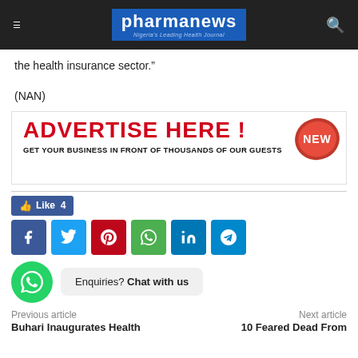pharmanews — Nigeria's Leading Health Journal
the health insurance sector."
(NAN)
[Figure (infographic): Advertisement banner reading 'ADVERTISE HERE !' in large red bold text with a red NEW badge sticker in the top right, and subtext 'GET YOUR BUSINESS IN FRONT OF THOUSANDS OF OUR GUESTS' in bold black.]
Like 4
[Figure (infographic): Row of social media share icons: Facebook (dark blue), Twitter (light blue), Pinterest (red), WhatsApp (green), LinkedIn (dark blue), Telegram (light blue).]
Enquiries? Chat with us
Previous article
Next article
Buhari Inaugurates Health
10 Feared Dead From